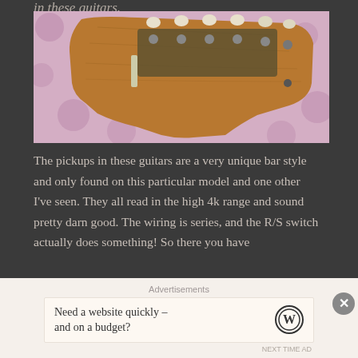in these guitars.
[Figure (photo): Close-up photograph of a guitar headstock with tuning pegs, warm brown wood finish, resting on a pink polka-dot fabric background]
The pickups in these guitars are a very unique bar style and only found on this particular model and one other I've seen.  They all read in the high 4k range and sound pretty darn good.  The wiring is series, and the R/S switch actually does something!  So there you have
Advertisements
Need a website quickly – and on a budget?